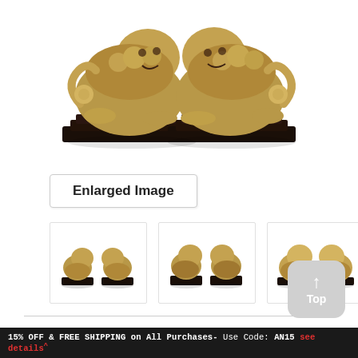[Figure (photo): Close-up cropped view of two golden Chinese foo dog (guardian lion) figurines on dark wooden bases, against white background. Only the lower portions are visible.]
Enlarged Image
[Figure (photo): Thumbnail 1: Two small golden foo dog figurines on dark bases, front/side angle view, white background.]
[Figure (photo): Thumbnail 2: Two golden foo dog figurines on dark bases, slightly different angle, white background.]
[Figure (photo): Thumbnail 3: Two golden foo dog figurines on dark bases, closer angle showing more detail, white background.]
[Figure (illustration): Grey rounded square 'Top' back-to-top button with upward arrow icon and 'Top' label in white text.]
15% OFF & FREE SHIPPING on All Purchases- Use Code: AN15 see details^